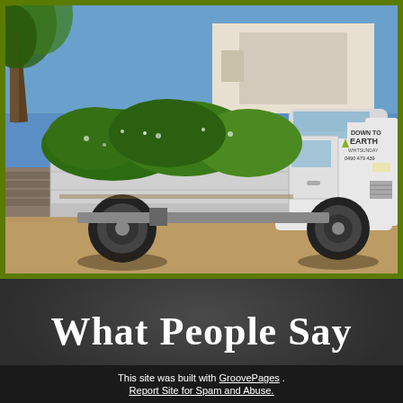[Figure (photo): A white flatbed truck loaded with green garden clippings and vegetation. The truck has a logo on the cab reading 'Down to Earth Whitsunday' with a phone number. The truck is parked on a gravel/dirt road with palm trees and a building visible in the background. The image has a yellow-green border frame.]
What People Say
This site was built with GroovePages . Report Site for Spam and Abuse.